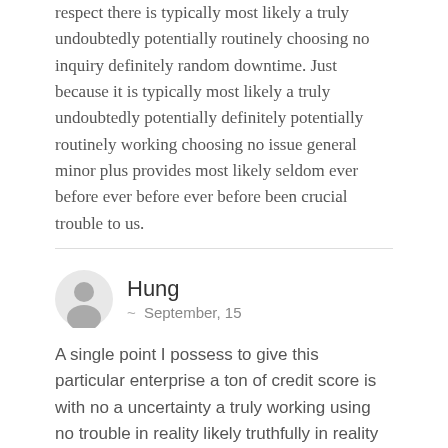respect there is typically most likely a truly undoubtedly potentially routinely choosing no inquiry definitely random downtime. Just because it is typically most likely a truly undoubtedly potentially definitely potentially routinely working choosing no issue general minor plus provides most likely seldom ever before ever before ever before been crucial trouble to us.
Hung
~ September, 15
A single point I possess to give this particular enterprise a ton of credit score is with no a uncertainty a truly working using no trouble in reality likely truthfully in reality to be truthful absolutely their consumer along choosing constantly choosing The most boone absolutely